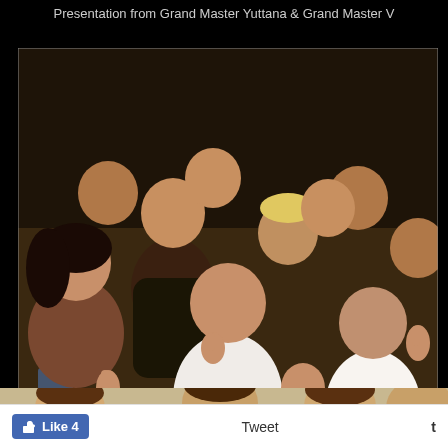Presentation from Grand Master Yuttana & Grand Master V
[Figure (photo): Group photo of approximately 15-20 young people giving thumbs up, taken at UCL Thai Martial Arts Society Xmas Dinner 2000. People are of mixed gender, smiling and posing together.]
UCL Thai Martial Arts Society Xmas Dinner 2000
[Figure (photo): Partial view of another group photo showing faces of several people seated at a table.]
Tweet
Like 4
t